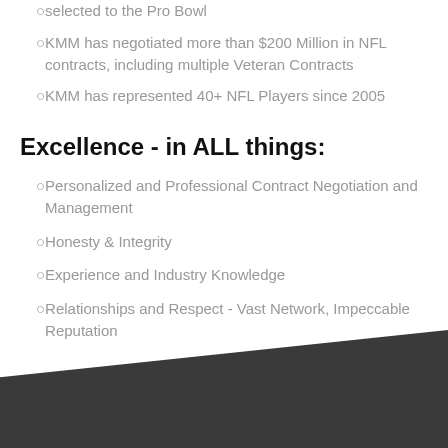selected to the Pro Bowl
KMM has negotiated more than $200 Million in NFL contracts, including multiple Veteran Contracts
KMM has represented 40+ NFL Players since 2005
Excellence - in ALL things:
Personalized and Professional Contract Negotiation and Management
Honesty & Integrity
Experience and Industry Knowledge
Relationships and Respect - Vast Network, Impeccable Reputation